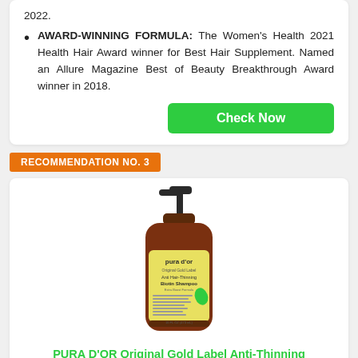2022.
AWARD-WINNING FORMULA: The Women's Health 2021 Health Hair Award winner for Best Hair Supplement. Named an Allure Magazine Best of Beauty Breakthrough Award winner in 2018.
Check Now
RECOMMENDATION NO. 3
[Figure (photo): PURA D'OR Original Gold Label Anti-Hair-Thinning Biotin Shampoo bottle with pump dispenser, amber/brown bottle with yellow label]
PURA D'OR Original Gold Label Anti-Thinning